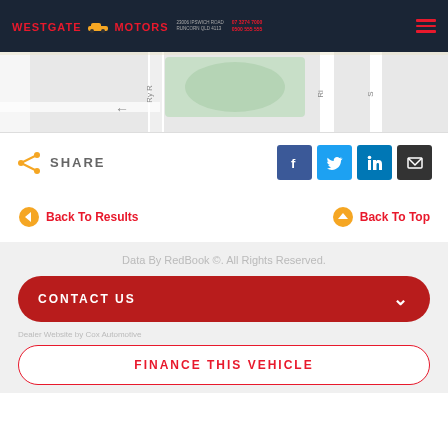WESTGATE MOTORS
[Figure (map): Street map showing roads and a green park/area]
SHARE
Back To Results
Back To Top
Data By RedBook ©. All Rights Reserved.
CONTACT US
Dealer Website by Cox Automotive
FINANCE THIS VEHICLE